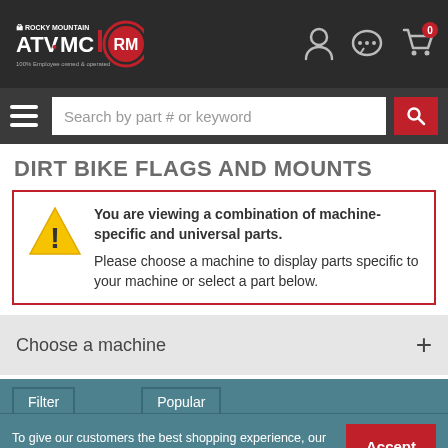Rocky Mountain ATV/MC - 100% Employee owned & operated
DIRT BIKE FLAGS AND MOUNTS
You are viewing a combination of machine-specific and universal parts. Please choose a machine to display parts specific to your machine or select a part below.
Choose a machine
To give our customers the best shopping experience, our website uses cookies. Learn More
Accept